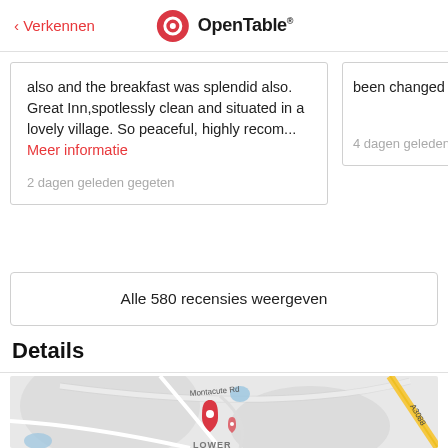Verkennen | OpenTable
also and the breakfast was splendid also. Great Inn,spotlessly clean and situated in a lovely village. So peaceful, highly recom... Meer informatie
2 dagen geleden gegeten
been changed in a
4 dagen geleden g
Alle 580 recensies weergeven
Details
[Figure (map): Google map showing location near Montacute Rd and A3088, with a red location pin marker near LOWER area]